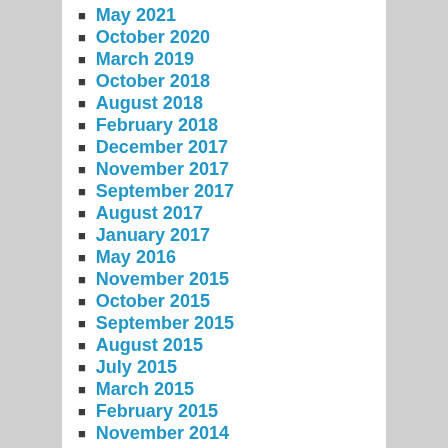May 2021
October 2020
March 2019
October 2018
August 2018
February 2018
December 2017
November 2017
September 2017
August 2017
January 2017
May 2016
November 2015
October 2015
September 2015
August 2015
July 2015
March 2015
February 2015
November 2014
October 2014